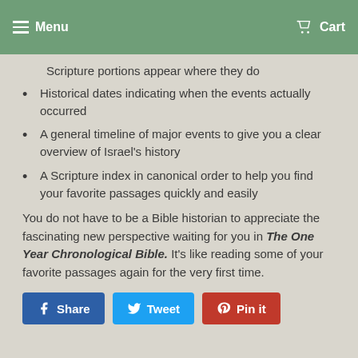Menu | Cart
Scripture portions appear where they do
Historical dates indicating when the events actually occurred
A general timeline of major events to give you a clear overview of Israel's history
A Scripture index in canonical order to help you find your favorite passages quickly and easily
You do not have to be a Bible historian to appreciate the fascinating new perspective waiting for you in The One Year Chronological Bible. It's like reading some of your favorite passages again for the very first time.
[Figure (infographic): Social sharing buttons: Facebook Share, Tweet, Pinterest Pin it]